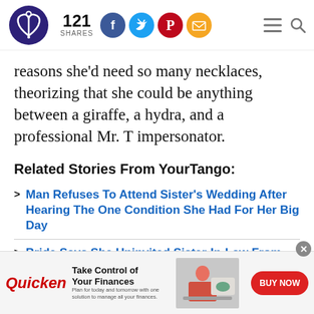YourTango logo, 121 SHARES, social icons (Facebook, Twitter, Pinterest, Email), hamburger menu, search icon
reasons she'd need so many necklaces, theorizing that she could be anything between a giraffe, a hydra, and a professional Mr. T impersonator.
Related Stories From YourTango:
Man Refuses To Attend Sister's Wedding After Hearing The One Condition She Had For Her Big Day
Bride Says She Uninvited Sister-In-Law From
[Figure (screenshot): Quicken advertisement banner: 'Take Control of Your Finances - Plan for today and tomorrow with one solution to manage all your finances.' with BUY NOW button]